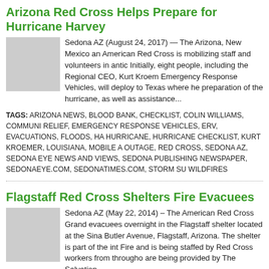Arizona Red Cross Helps Prepare for Hurricane Harvey
Sedona AZ (August 24, 2017) — The Arizona, New Mexico and American Red Cross is mobilizing staff and volunteers in anticipation. Initially, eight people, including the Regional CEO, Kurt Kroemer, Emergency Response Vehicles, will deploy to Texas where he will be in preparation of the hurricane, as well as assistance...
TAGS: ARIZONA NEWS, BLOOD BANK, CHECKLIST, COLIN WILLIAMS, COMMUNITY RELIEF, EMERGENCY RESPONSE VEHICLES, ERV, EVACUATIONS, FLOODS, HA, HURRICANE, HURRICANE CHECKLIST, KURT KROEMER, LOUISIANA, MOBILE A, OUTAGE, RED CROSS, SEDONA AZ, SEDONA EYE NEWS AND VIEWS, SEDONA PUBLISHING NEWSPAPER, SEDONAEYE.COM, SEDONATIMES.COM, STORM SU, WILDFIRES
Flagstaff Red Cross Shelters Fire Evacuees
Sedona AZ (May 22, 2014) – The American Red Cross Grand evacuees overnight in the Flagstaff shelter located at the Sina Butler Avenue, Flagstaff, Arizona. The shelter is part of the int Fire and is being staffed by Red Cross workers from throughout are being provided by The Salvation...
TAGS: AMERICAN RED CROSS, AMERICAN RED CROSS GRAND CANYON CHAP, ASSOCIATION, FLAGSTAFF AMERICAN RED CROSS SHELTERS, FLAGSTAFF AZ, SEDONA EYE NEWS AND VIEWS, SEDONA TIMES PUBLISHING NEWSPAPER, SE, SEDONATIMES.COM, THE SALVATION ARMY